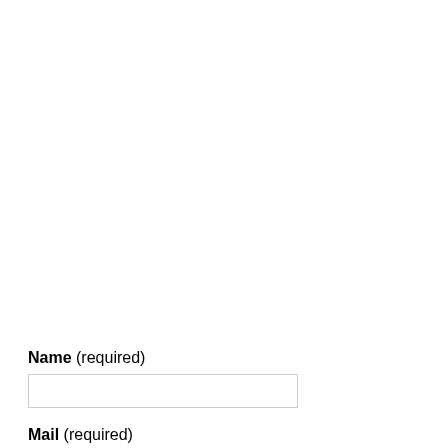Name (required)
Mail (required)